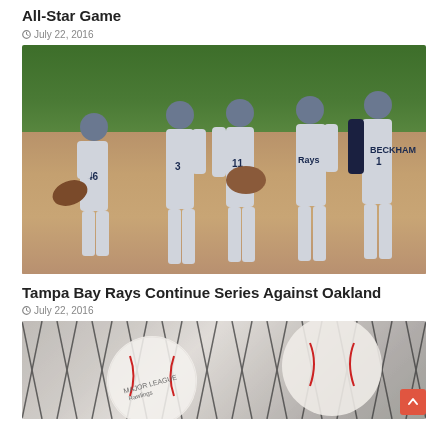All-Star Game
July 22, 2016
[Figure (photo): Tampa Bay Rays players celebrating on the field, high-fiving each other in gray uniforms with numbers 46, 3, 11, and 1 (BECKHAM) visible]
Tampa Bay Rays Continue Series Against Oakland
July 22, 2016
[Figure (photo): Close-up of baseballs behind a chain-link fence, showing the red stitching and Major League Baseball branding]